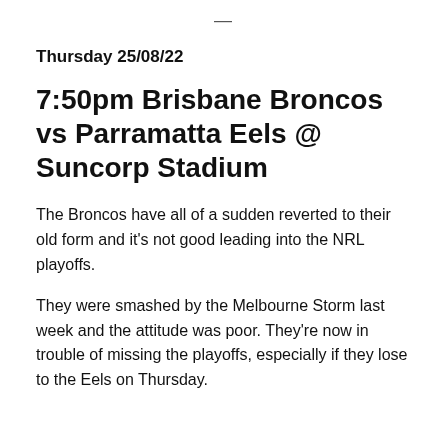—
Thursday 25/08/22
7:50pm Brisbane Broncos vs Parramatta Eels @ Suncorp Stadium
The Broncos have all of a sudden reverted to their old form and it's not good leading into the NRL playoffs.
They were smashed by the Melbourne Storm last week and the attitude was poor. They're now in trouble of missing the playoffs, especially if they lose to the Eels on Thursday.